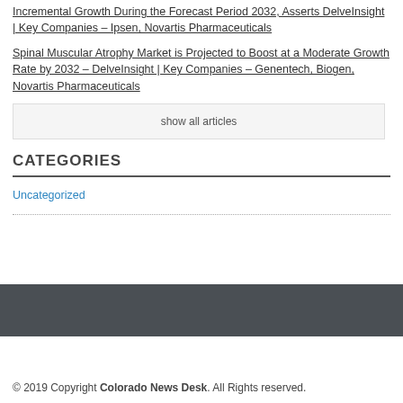Incremental Growth During the Forecast Period 2032, Asserts DelveInsight | Key Companies – Ipsen, Novartis Pharmaceuticals
Spinal Muscular Atrophy Market is Projected to Boost at a Moderate Growth Rate by 2032 – DelveInsight | Key Companies – Genentech, Biogen, Novartis Pharmaceuticals
show all articles
CATEGORIES
Uncategorized
© 2019 Copyright Colorado News Desk. All Rights reserved.